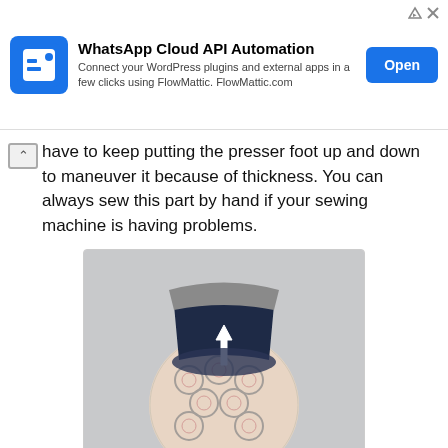[Figure (other): Advertisement banner: WhatsApp Cloud API Automation. Connect your WordPress plugins and external apps in a few clicks using FlowMattic. FlowMattic.com. Open button.]
have to keep putting the presser foot up and down to maneuver it because of thickness. You can always sew this part by hand if your sewing machine is having problems.
[Figure (photo): Photo of a sewing project: a fabric bag with patterned exterior (geometric/hexagon print in pink, gray, white) and dark navy blue interior lining, with a white arrow pointing downward indicating where to sew or attach pieces.]
Place the exterior piece right side out into the liner so the right sides are together.
[Figure (photo): Partial photo of next sewing step, showing a teal/turquoise fabric piece, partially visible at bottom of page.]